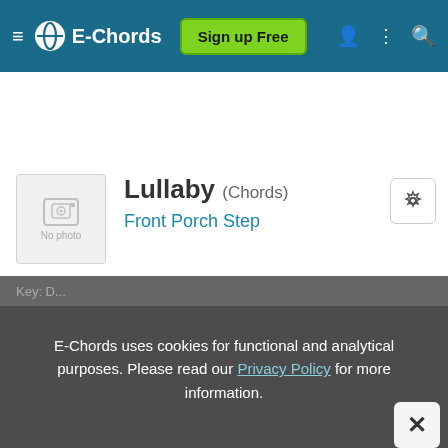E-Chords  Sign up Free
Lullaby (Chords)
Front Porch Step
E-Chords uses cookies for functional and analytical purposes. Please read our Privacy Policy for more information.